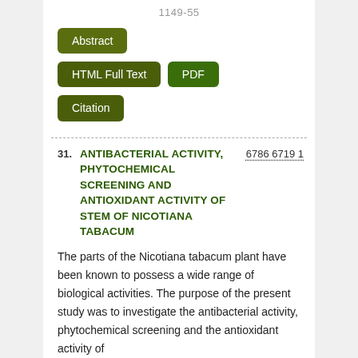1149-55
Abstract | HTML Full Text | PDF | Citation
31. ANTIBACTERIAL ACTIVITY, PHYTOCHEMICAL SCREENING AND ANTIOXIDANT ACTIVITY OF STEM OF NICOTIANA TABACUM
6786 6719 1
The parts of the Nicotiana tabacum plant have been known to possess a wide range of biological activities. The purpose of the present study was to investigate the antibacterial activity, phytochemical screening and the antioxidant activity of